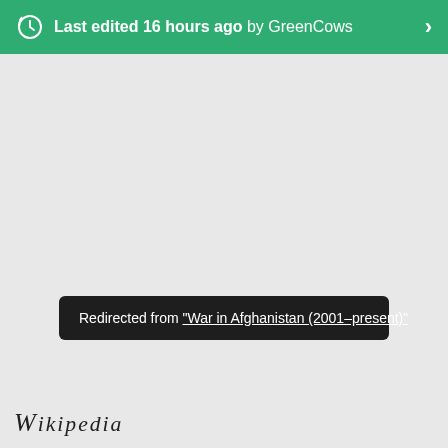Last edited 16 hours ago by GreenCows
Redirected from "War in Afghanistan (2001–present)"
[Figure (logo): Wikipedia logo text]